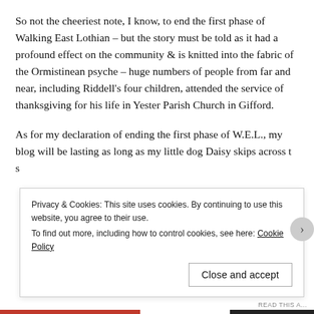So not the cheeriest note, I know, to end the first phase of Walking East Lothian – but the story must be told as it had a profound effect on the community & is knitted into the fabric of the Ormistinean psyche – huge numbers of people from far and near, including Riddell's four children, attended the service of thanksgiving for his life in Yester Parish Church in Gifford.
As for my declaration of ending the first phase of W.E.L., my blog will be lasting as long as my little dog Daisy skips across t… s…
Privacy & Cookies: This site uses cookies. By continuing to use this website, you agree to their use.
To find out more, including how to control cookies, see here: Cookie Policy
Close and accept